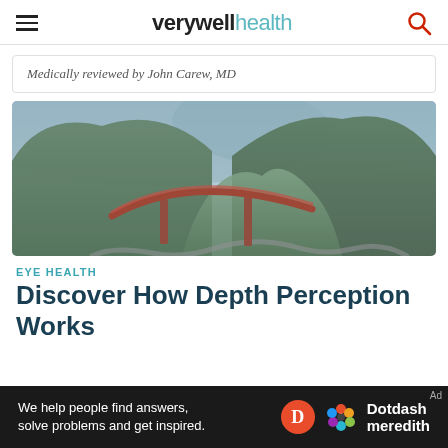verywell health
Medically reviewed by John Carew, MD
[Figure (photo): Aerial view of a mountain valley with dense green forest, a curved red bridge/viaduct structure, and a winding road below, under hazy blue-grey sky.]
EYE HEALTH
Discover How Depth Perception Works
We help people find answers, solve problems and get inspired. Dotdash meredith